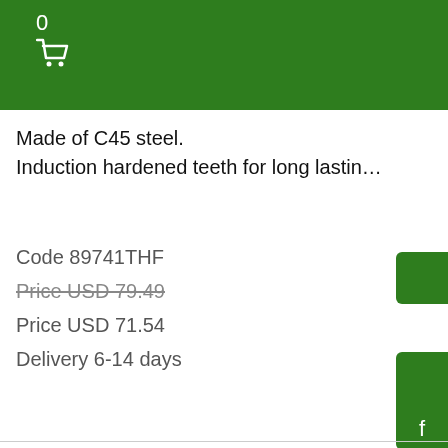0 [cart icon]
Made of C45 steel.
Induction hardened teeth for long lastin…
Code 89741THF
Price USD 79.49 (strikethrough)
Price USD 71.54
Delivery 6-14 days